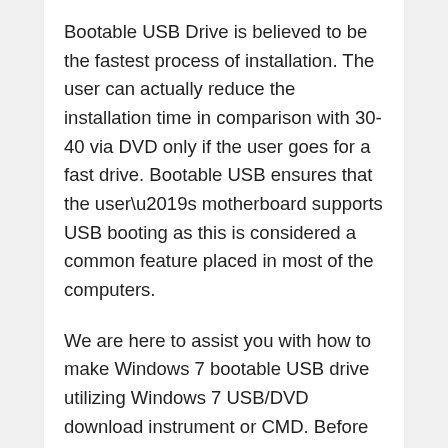Bootable USB Drive is believed to be the fastest process of installation. The user can actually reduce the installation time in comparison with 30-40 via DVD only if the user goes for a fast drive. Bootable USB ensures that the user’s motherboard supports USB booting as this is considered a common feature placed in most of the computers.
We are here to assist you with how to make Windows 7 bootable USB drive utilizing Windows 7 USB/DVD download instrument or CMD. Before we start, you’ll need the Windows establishment records or Windows 7 ISO document (consolidated all the Windows